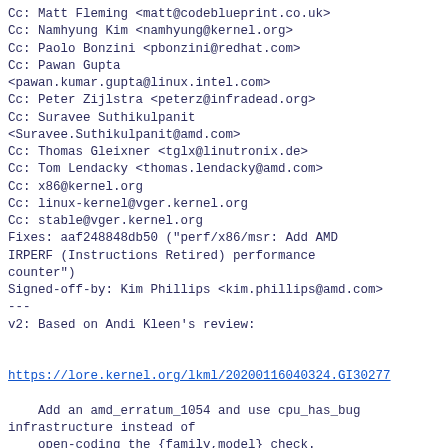Cc: Matt Fleming <matt@codeblueprint.co.uk>
Cc: Namhyung Kim <namhyung@kernel.org>
Cc: Paolo Bonzini <pbonzini@redhat.com>
Cc: Pawan Gupta
<pawan.kumar.gupta@linux.intel.com>
Cc: Peter Zijlstra <peterz@infradead.org>
Cc: Suravee Suthikulpanit
<Suravee.Suthikulpanit@amd.com>
Cc: Thomas Gleixner <tglx@linutronix.de>
Cc: Tom Lendacky <thomas.lendacky@amd.com>
Cc: x86@kernel.org
Cc: linux-kernel@vger.kernel.org
Cc: stable@vger.kernel.org
Fixes: aaf248848db50 ("perf/x86/msr: Add AMD
IRPERF (Instructions Retired) performance
counter")
Signed-off-by: Kim Phillips <kim.phillips@amd.com>
---
v2: Based on Andi Kleen's review:


https://lore.kernel.org/lkml/20200116040324.GI30277

    Add an amd_erratum_1054 and use cpu_has_bug
infrastructure instead of
    open-coding the {family,model} check.

arch/x86/include/asm/cpufeatures.h  |  1 +
arch/x86/include/asm/msr-index.h    |  2 ++
arch/x86/kernel/cpu/amd.c           | 17